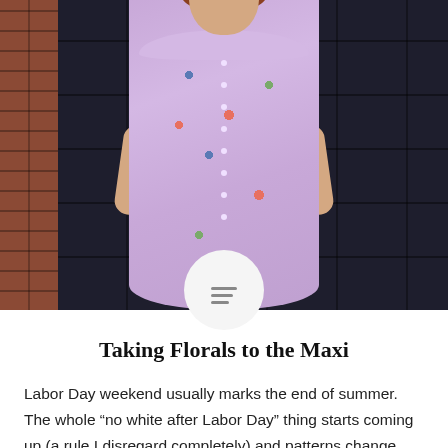[Figure (photo): Woman wearing a lavender floral maxi dress with ruffle top, standing in front of a dark geometric tile wall with brick wall on the left side. A circular icon with a hamburger menu symbol overlays the bottom of the photo.]
Taking Florals to the Maxi
Labor Day weekend usually marks the end of summer. The whole “no white after Labor Day” thing starts coming up (a rule I disregard completely) and patterns change from